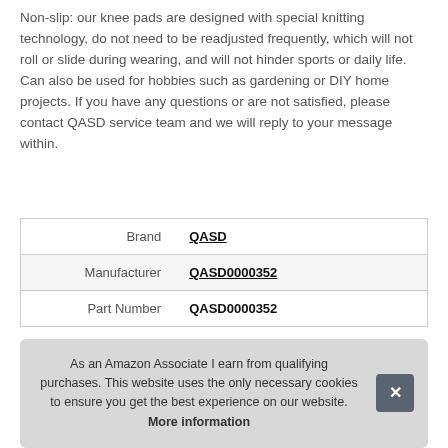Non-slip: our knee pads are designed with special knitting technology, do not need to be readjusted frequently, which will not roll or slide during wearing, and will not hinder sports or daily life. Can also be used for hobbies such as gardening or DIY home projects. If you have any questions or are not satisfied, please contact QASD service team and we will reply to your message within.
|  |  |
| --- | --- |
| Brand | QASD |
| Manufacturer | QASD0000352 |
| Part Number | QASD0000352 |
As an Amazon Associate I earn from qualifying purchases. This website uses the only necessary cookies to ensure you get the best experience on our website. More information